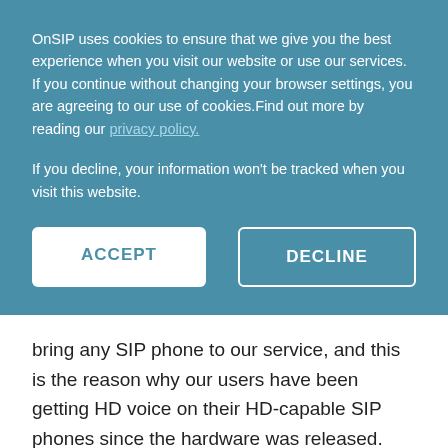OnSIP uses cookies to ensure that we give you the best experience when you visit our website or use our services. If you continue without changing your browser settings, you are agreeing to our use of cookies.Find out more by reading our privacy policy.
If you decline, your information won't be tracked when you visit this website.
ACCEPT
DECLINE
bring any SIP phone to our service, and this is the reason why our users have been getting HD voice on their HD-capable SIP phones since the hardware was released. This is also the reason why we can say that we support additional media types such as video and more.
SIP Trunking